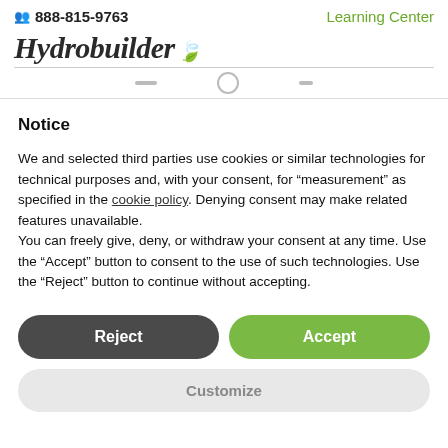888-815-9763   Learning Center
[Figure (logo): Hydrobuilder logo with stylized italic script text and green leaf icon]
Notice
We and selected third parties use cookies or similar technologies for technical purposes and, with your consent, for “measurement” as specified in the cookie policy. Denying consent may make related features unavailable.
You can freely give, deny, or withdraw your consent at any time. Use the “Accept” button to consent to the use of such technologies. Use the “Reject” button to continue without accepting.
Reject
Accept
Customize